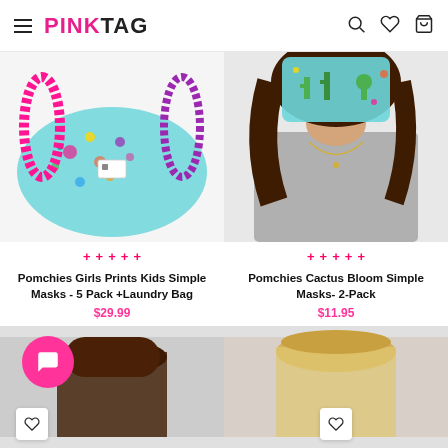PINKTAG — navigation header with hamburger menu, logo, search, wishlist, and cart icons
[Figure (photo): Kids colorful patterned face masks with pink elastic bands on white background]
[Figure (photo): Woman wearing cactus print face mask, back view showing brown wavy hair and gray top]
+ + + + +
+ + + + +
Pomchies Girls Prints Kids Simple Masks - 5 Pack +Laundry Bag
$29.99
Pomchies Cactus Bloom Simple Masks- 2-Pack
$11.95
[Figure (photo): Partial bottom product image left — person with dark hair]
[Figure (photo): Partial bottom product image right — person with blonde hair]